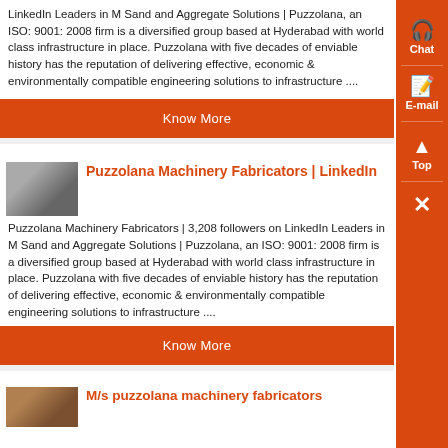LinkedIn Leaders in M Sand and Aggregate Solutions | Puzzolana, an ISO: 9001: 2008 firm is a diversified group based at Hyderabad with world class infrastructure in place. Puzzolana with five decades of enviable history has the reputation of delivering effective, economic & environmentally compatible engineering solutions to infrastructure ....
Know More
Puzzolana Machinery Fabricators | LinkedIn
Puzzolana Machinery Fabricators | 3,208 followers on LinkedIn Leaders in M Sand and Aggregate Solutions | Puzzolana, an ISO: 9001: 2008 firm is a diversified group based at Hyderabad with world class infrastructure in place. Puzzolana with five decades of enviable history has the reputation of delivering effective, economic & environmentally compatible engineering solutions to infrastructure ....
Know More
M/s puzzolana machinery fabricators